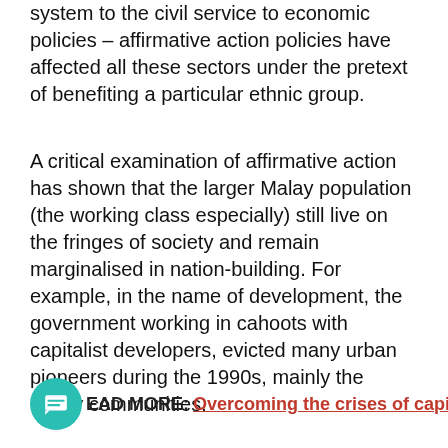system to the civil service to economic policies – affirmative action policies have affected all these sectors under the pretext of benefiting a particular ethnic group.
A critical examination of affirmative action has shown that the larger Malay population (the working class especially) still live on the fringes of society and remain marginalised in nation-building. For example, in the name of development, the government working in cahoots with capitalist developers, evicted many urban pioneers during the 1990s, mainly the Malay communities.
READ MORE: Overcoming the crises of capitalism